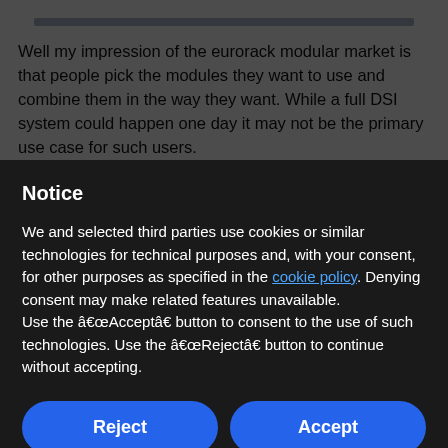Well my impression of the eurorack modular market is that people pick the modules they want to use and combine them in the way they want. While a full DSI system could happen one day it may not be the primary use case for such users.
Notice
We and selected third parties use cookies or similar technologies for technical purposes and, with your consent, for other purposes as specified in the cookie policy. Denying consent may make related features unavailable.
Use the â€œAcceptâ€ button to consent to the use of such technologies. Use the â€œRejectâ€ button to continue without accepting.